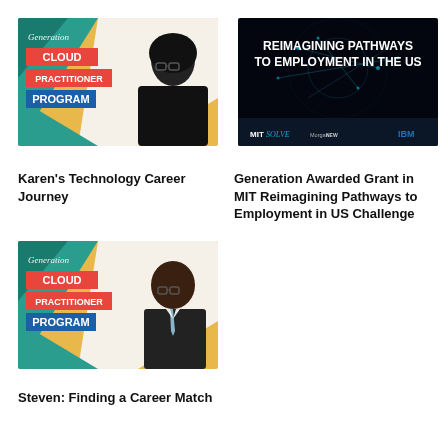[Figure (photo): Generation Cloud Practitioner Program thumbnail with a young woman wearing hijab and glasses, colorful geometric background in teal, gold, and white]
Karen's Technology Career Journey
[Figure (photo): MIT SOLVE panel image showing 'REIMAGINING PATHWAYS TO EMPLOYMENT IN THE US' on dark background with MIT, SOLVE, Morgan Stanley, NewProfit, and IBM logos]
Generation Awarded Grant in MIT Reimagining Pathways to Employment in US Challenge
[Figure (photo): Generation Cloud Practitioner Program thumbnail with a man in suit and glasses smiling, colorful geometric background in teal, gold, and white]
Steven: Finding a Career Match